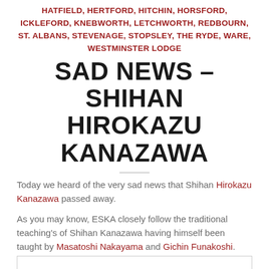HATFIELD, HERTFORD, HITCHIN, HORSFORD, ICKLEFORD, KNEBWORTH, LETCHWORTH, REDBOURN, ST. ALBANS, STEVENAGE, STOPSLEY, THE RYDE, WARE, WESTMINSTER LODGE
SAD NEWS – SHIHAN HIROKAZU KANAZAWA
Today we heard of the very sad news that Shihan Hirokazu Kanazawa passed away.
As you may know, ESKA closely follow the traditional teaching's of Shihan Kanazawa having himself been taught by Masatoshi Nakayama and Gichin Funakoshi.